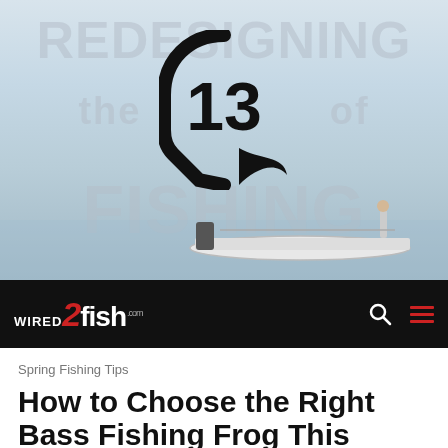[Figure (photo): Banner advertisement for '13 Fishing' brand showing a boat on calm water with a person standing on it. Background has large watermark text reading 'REDESIGNING the SPORT of FISHING' in light gray, with the number 13 logo (fish icon) prominently displayed in black in the center.]
WIRED2fish.com
Spring Fishing Tips
How to Choose the Right Bass Fishing Frog This Spring